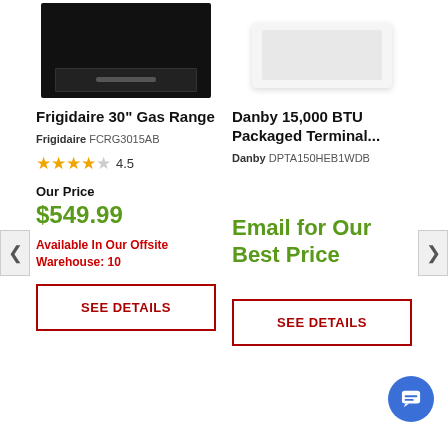[Figure (photo): Frigidaire 30 inch black gas range oven, top-down partial view showing drawer at bottom]
Frigidaire 30" Gas Range
Frigidaire FCRG3015AB
4.5 stars rating
Our Price
$549.99
Available In Our Offsite Warehouse: 10
SEE DETAILS
[Figure (photo): Danby 15,000 BTU Packaged Terminal air conditioner, white unit partial view]
Danby 15,000 BTU Packaged Terminal...
Danby DPTA150HEB1WDB
Email for Our Best Price
SEE DETAILS